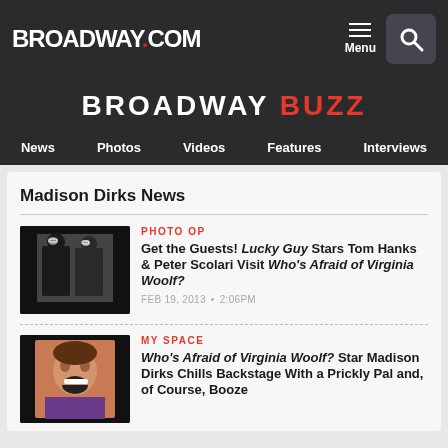BROADWAY.COM
BROADWAY BUZZ
News | Photos | Videos | Features | Interviews
Madison Dirks News
[Figure (photo): Thumbnail photo of two men in dark clothing, black background]
PHOTO OP
Get the Guests! Lucky Guy Stars Tom Hanks & Peter Scolari Visit Who's Afraid of Virginia Woolf?
FEB 19, 2013 • 2:06PM
[Figure (photo): Thumbnail photo of a man with mouth open, smiling, wearing purple]
MY SPACE
Who's Afraid of Virginia Woolf? Star Madison Dirks Chills Backstage With a Prickly Pal and, of Course, Booze